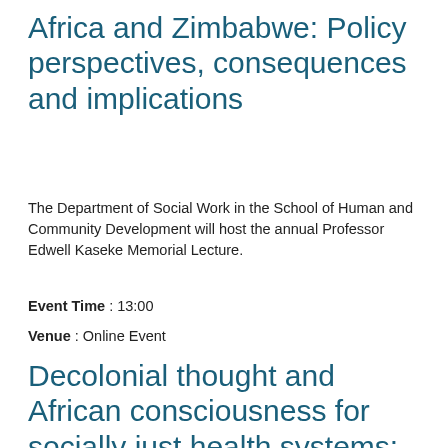Africa and Zimbabwe: Policy perspectives, consequences and implications
The Department of Social Work in the School of Human and Community Development will host the annual Professor Edwell Kaseke Memorial Lecture.
Event Time : 13:00
Venue : Online Event
Decolonial thought and African consciousness for socially just health systems: An imaginative space